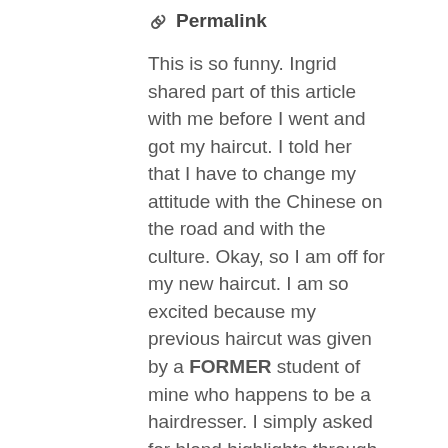Permalink
This is so funny. Ingrid shared part of this article with me before I went and got my haircut. I told her that I have to change my attitude with the Chinese on the road and with the culture. Okay, so I am off for my new haircut. I am so excited because my previous haircut was given by a FORMER student of mine who happens to be a hairdresser. I simply asked for blond highlights through English, broken Chinese, mime, etc. She promised